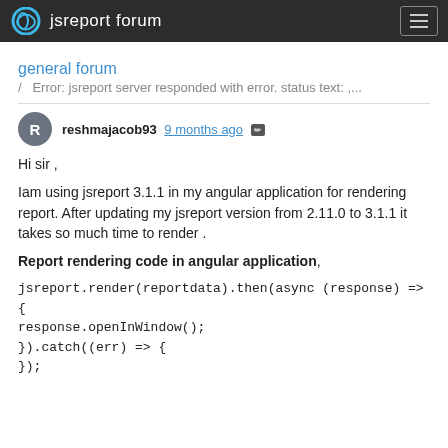jsreport forum
general forum
/ Error: jsreport server responded with error. status text: ,...
reshmajacob93 9 months ago [edit]
Hi sir ,
Iam using jsreport 3.1.1 in my angular application for rendering report. After updating my jsreport version from 2.11.0 to 3.1.1 it takes so much time to render .
Report rendering code in angular application,
jsreport.render(reportdata).then(async (response) => {
response.openInWindow();
}).catch((err) => {
});